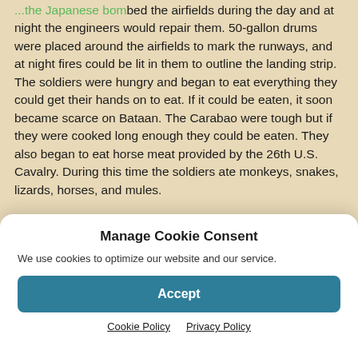...the Japanese bombed the airfields during the day and at night the engineers would repair them. 50-gallon drums were placed around the airfields to mark the runways, and at night fires could be lit in them to outline the landing strip. The soldiers were hungry and began to eat everything they could get their hands on to eat. If it could be eaten, it soon became scarce on Bataan. The Carabao were tough but if they were cooked long enough they could be eaten. They also began to eat horse meat provided by the 26th U.S. Cavalry. During this time the soldiers ate monkeys, snakes, lizards, horses, and mules.
Manage Cookie Consent
We use cookies to optimize our website and our service.
Accept
Cookie Policy  Privacy Policy